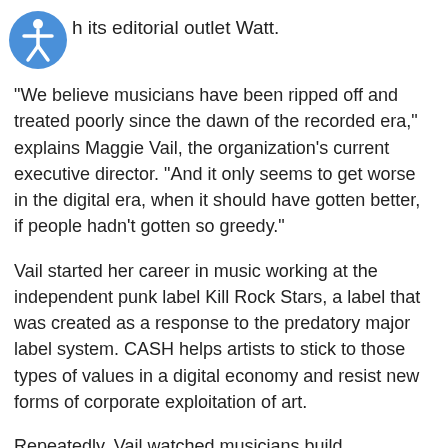[Figure (logo): Accessibility icon — blue circle with white person/wheelchair figure]
h its editorial outlet Watt.
“We believe musicians have been ripped off and treated poorly since the dawn of the recorded era,” explains Maggie Vail, the organization’s current executive director. “And it only seems to get worse in the digital era, when it should have gotten better, if people hadn’t gotten so greedy.”
Vail started her career in music working at the independent punk label Kill Rock Stars, a label that was created as a response to the predatory major label system. CASH helps artists to stick to those types of values in a digital economy and resist new forms of corporate exploitation of art.
Repeatedly, Vail watched musicians build communities on platforms that routinely fail to generate profits and then shut down. This left artists disoriented, sometimes cut off from their messages and contacts.
“What’s going to happen when somebody sells? What